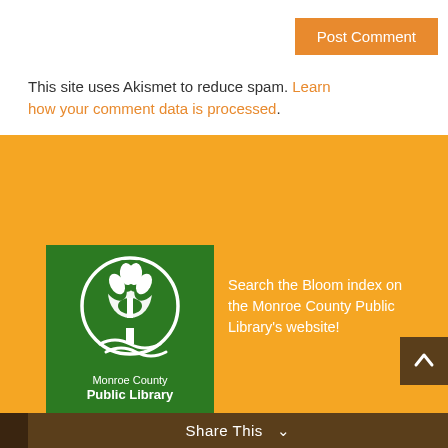Post Comment
This site uses Akismet to reduce spam. Learn how your comment data is processed.
[Figure (logo): Monroe County Public Library green logo with white tree icon in a circle]
Search the Bloom index on the Monroe County Public Library's website!
Share This